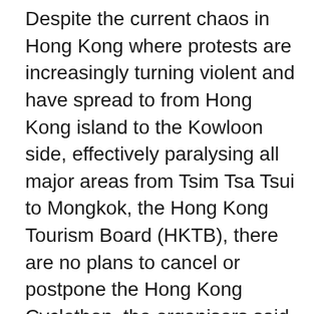Despite the current chaos in Hong Kong where protests are increasingly turning violent and have spread to from Hong Kong island to the Kowloon side, effectively paralysing all major areas from Tsim Tsa Tsui to Mongkok, the Hong Kong Tourism Board (HKTB), there are no plans to cancel or postpone the Hong Kong Cyclothon, the organisers said on Monday.